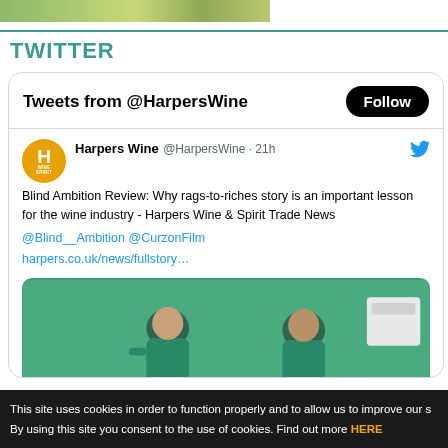[Figure (photo): Partial top image showing foliage/nature background cropped at top of page]
TWITTER
[Figure (screenshot): Twitter widget showing @HarpersWine tweets with Follow button, a tweet about Blind Ambition Review, and a photo of two men in teal shirts against a green wall]
This site uses cookies in order to function properly and to allow us to improve our s By using this site you consent to the use of cookies. Find out more HERE